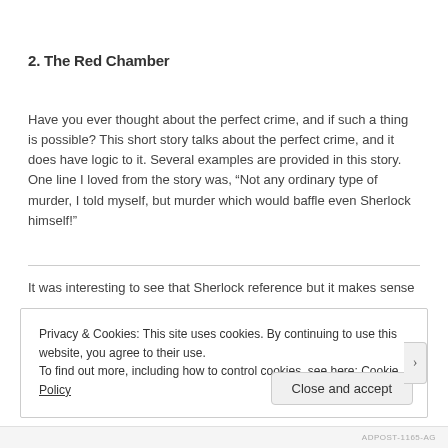2. The Red Chamber
Have you ever thought about the perfect crime, and if such a thing is possible? This short story talks about the perfect crime, and it does have logic to it. Several examples are provided in this story. One line I loved from the story was, “Not any ordinary type of murder, I told myself, but murder which would baffle even Sherlock himself!”
It was interesting to see that Sherlock reference but it makes sense
Privacy & Cookies: This site uses cookies. By continuing to use this website, you agree to their use.
To find out more, including how to control cookies, see here: Cookie Policy
Close and accept
ADPOST-1165-AG